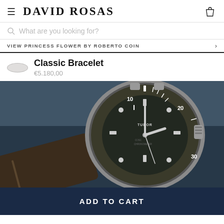DAVID ROSAS
What are you looking for?
VIEW PRINCESS FLOWER BY ROBERTO COIN
Classic Bracelet
€5.180,00
[Figure (photo): Close-up photograph of a Tudor Black Bay watch with a dark brown dial, aluminum bezel with dive markers, and a brown textile strap. The watch shows markings 10, 20, 30 on the bezel.]
ADD TO CART